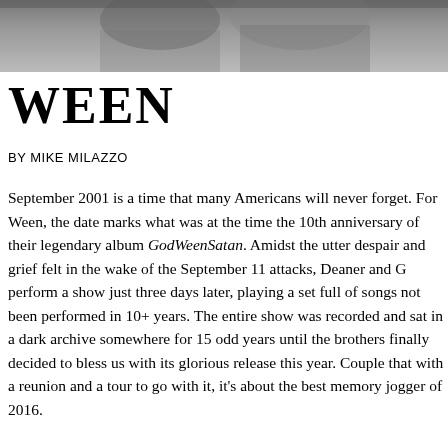[Figure (photo): Black and white photograph of people, partially cropped at top of page]
WEEN
BY MIKE MILAZZO
September 2001 is a time that many Americans will never forget. For Ween, the date marks what was at the time the 10th anniversary of their legendary album GodWeenSatan. Amidst the utter despair and grief felt in the wake of the September 11 attacks, Deaner and G perform a show just three days later, playing a set full of songs not been performed in 10+ years. The entire show was recorded and sat in a dark archive somewhere for 15 odd years until the brothers finally decided to bless us with its glorious release this year. Couple that with a reunion and a tour to go with it, it's about the best memory jogger of 2016.